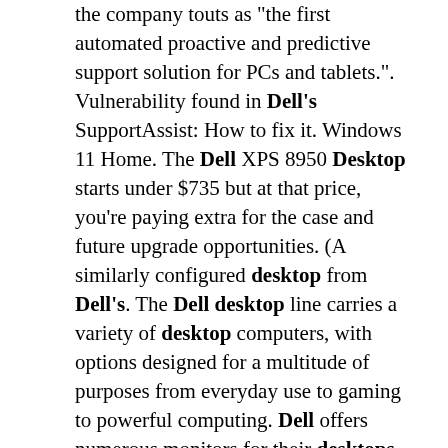the company touts as "the first automated proactive and predictive support solution for PCs and tablets.". Vulnerability found in Dell's SupportAssist: How to fix it. Windows 11 Home. The Dell XPS 8950 Desktop starts under $735 but at that price, you're paying extra for the case and future upgrade opportunities. (A similarly configured desktop from Dell's. The Dell desktop line carries a variety of desktop computers, with options designed for a multitude of purposes from everyday use to gaming to powerful computing. Dell offers numerous monitors for their desktops, providing users with options that range from $79.99 to $3,749.99 (as of summer 2020). Additionally, Dell sells various accessories. Dell OptiPlex 3020 MT Core i3-4150 2-Core 3.5GHz (3.7GHz) 4GB 500GB Ubuntu + tastatura + mis 3yr. Model: DELL OptiPlex 3020 MT Činseti: Intel H81